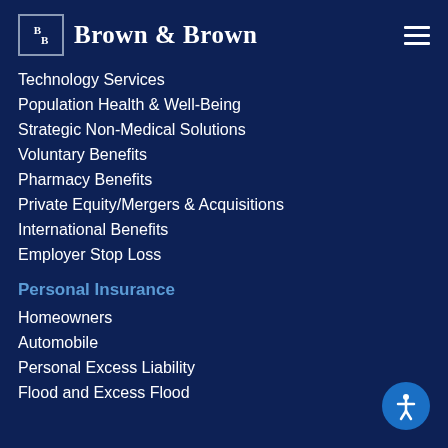Brown & Brown
Technology Services
Population Health & Well-Being
Strategic Non-Medical Solutions
Voluntary Benefits
Pharmacy Benefits
Private Equity/Mergers & Acquisitions
International Benefits
Employer Stop Loss
Personal Insurance
Homeowners
Automobile
Personal Excess Liability
Flood and Excess Flood